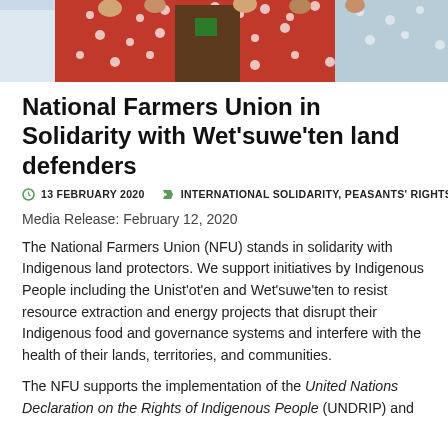[Figure (photo): Photo banner showing people in colorful traditional red and white polka-dot clothing/costumes at what appears to be a gathering or demonstration.]
National Farmers Union in Solidarity with Wet'suwe'ten land defenders
13 FEBRUARY 2020   INTERNATIONAL SOLIDARITY, PEASANTS' RIGHTS
Media Release: February 12, 2020
The National Farmers Union (NFU) stands in solidarity with Indigenous land protectors. We support initiatives by Indigenous People including the Unist'ot'en and Wet'suwe'ten to resist resource extraction and energy projects that disrupt their Indigenous food and governance systems and interfere with the health of their lands, territories, and communities.
The NFU supports the implementation of the United Nations Declaration on the Rights of Indigenous People (UNDRIP) and